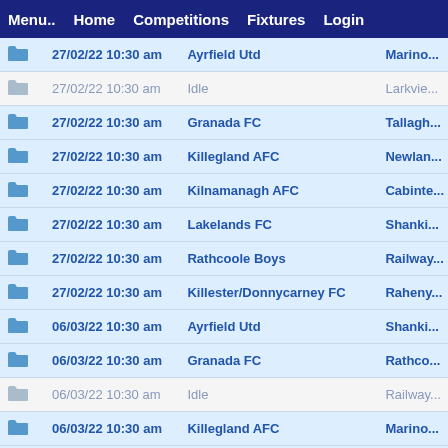Menu..  Home  Competitions  Fixtures  Login
|  |  | Date/Time | Team |  | Opponent |
| --- | --- | --- | --- | --- | --- |
| folder |  | 27/02/22 10:30 am | Ayrfield Utd |  | Marino... |
| folder-idle |  | 27/02/22 10:30 am | Idle |  | Larkvie... |
| folder |  | 27/02/22 10:30 am | Granada FC |  | Tallagh... |
| folder |  | 27/02/22 10:30 am | Killegland AFC |  | Newlan... |
| folder |  | 27/02/22 10:30 am | Kilnamanagh AFC |  | Cabinte... |
| folder |  | 27/02/22 10:30 am | Lakelands FC |  | Shanki... |
| folder |  | 27/02/22 10:30 am | Rathcoole Boys |  | Railway... |
| folder |  | 27/02/22 10:30 am | Killester/Donnycarney FC |  | Raheny... |
| folder |  | 06/03/22 10:30 am | Ayrfield Utd |  | Shanki... |
| folder |  | 06/03/22 10:30 am | Granada FC |  | Rathco... |
| folder-idle |  | 06/03/22 10:30 am | Idle |  | Railway... |
| folder |  | 06/03/22 10:30 am | Killegland AFC |  | Marino... |
| folder |  | 06/03/22 10:30 am | Cabinteely FC |  | Raheny... |
| folder |  | 06/03/22 10:30 am | Kilnamanagh AFC |  | Larkvie... |
| folder |  | 06/03/22 10:30 am | Lakelands FC |  | Newlan... |
| folder |  | 06/03/22 10:30 am | Killester/Donnycarney FC |  | Tallagh... |